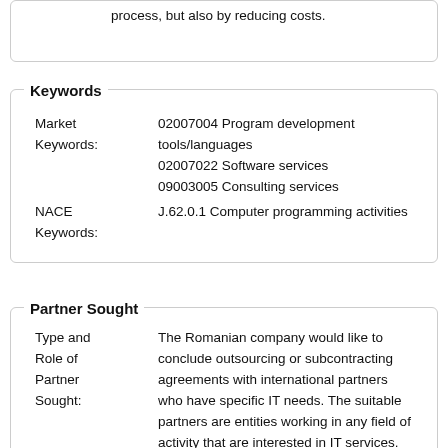process, but also by reducing costs.
Keywords
| Market Keywords: | 02007004 Program development tools/languages
02007022 Software services
09003005 Consulting services |
| NACE Keywords: | J.62.0.1 Computer programming activities |
Partner Sought
| Type and Role of Partner Sought: | The Romanian company would like to conclude outsourcing or subcontracting agreements with international partners who have specific IT needs. The suitable partners are entities working in any field of activity that are interested in IT services. |